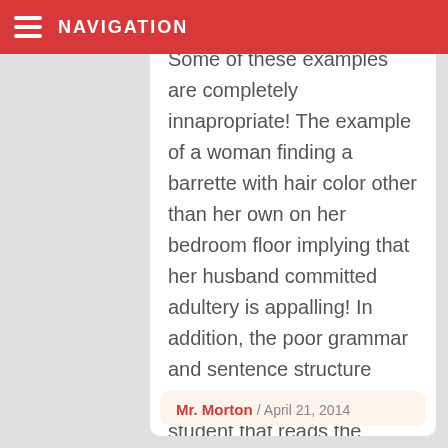NAVIGATION
Some of these examples are completely innapropriate! The example of a woman finding a barrette with hair color other than her own on her bedroom floor implying that her husband committed adultery is appalling! In addition, the poor grammar and sentence structure makes me fear for any student that reads the examples and thinks that the writing is acceptable.
Mr. Morton / April 21, 2014